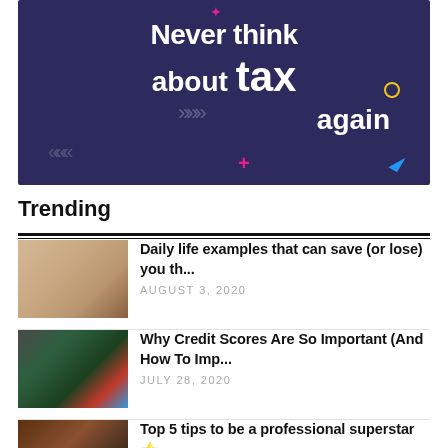[Figure (illustration): Dark navy blue banner with white bold text reading 'Never think about tax again' with decorative colored geometric shapes (chevrons, plus, circle, triangle) and a small pink star spark at top]
Trending
[Figure (photo): Young woman with long hair in yellow sweater holding a camera]
Daily life examples that can save (or lose) you th...
AUGUST 3, 2020
[Figure (photo): Crowd at a sporting event with green and blue lighting]
Why Credit Scores Are So Important (And How To Imp...
JULY 28, 2020
[Figure (photo): People gathered in an indoor setting, dark tones]
Top 5 tips to be a professional superstar ⭐
JULY 21, 2020